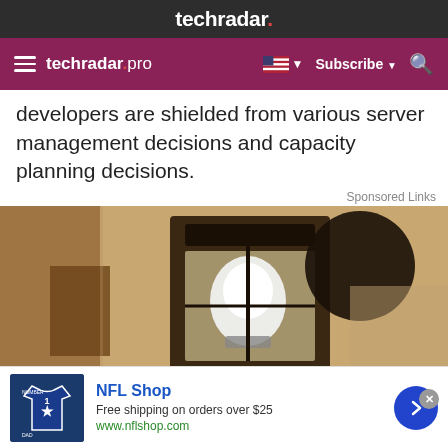techradar.
techradar pro — Subscribe
developers are shielded from various server management decisions and capacity planning decisions.
Sponsored Links
[Figure (photo): Close-up photograph of an outdoor wall-mounted lantern light fixture against a beige stucco wall]
NFL Shop
Free shipping on orders over $25
www.nflshop.com